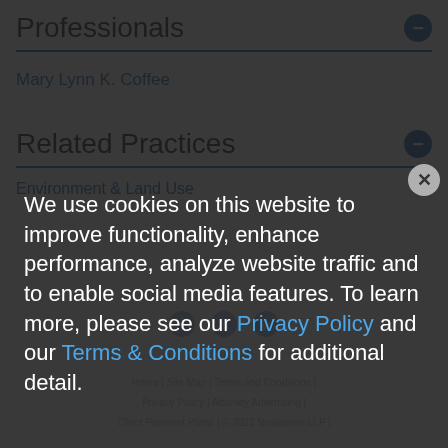Professionals
Mary Lynn K. Coffee
Related Practices
Environment & Land Use
We use cookies on this website to improve functionality, enhance performance, analyze website traffic and to enable social media features. To learn more, please see our Privacy Policy and our Terms & Conditions for additional detail.
Home | Site Map | Terms and Conditions | Privacy Policy | Attorney Advertising | Client Payment Portal | © 2022 Nossaman LLP |